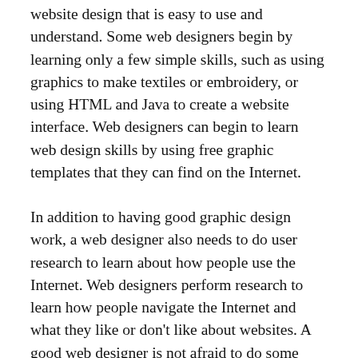website design that is easy to use and understand. Some web designers begin by learning only a few simple skills, such as using graphics to make textiles or embroidery, or using HTML and Java to create a website interface. Web designers can begin to learn web design skills by using free graphic templates that they can find on the Internet.
In addition to having good graphic design work, a web designer also needs to do user research to learn about how people use the Internet. Web designers perform research to learn how people navigate the Internet and what they like or don't like about websites. A good web designer is not afraid to do some user research because they need to be aware of what their potential client wants. When designing a website, web designers should always be current with new trends and developments in the Internet world. A web designer who is up-to-date about the